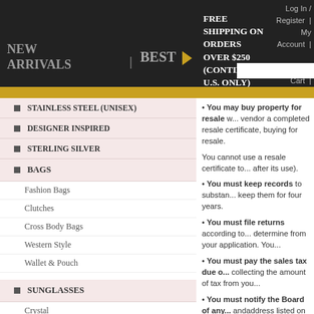NEW ARRIVALS | BEST ▶ FREE SHIPPING ON ORDERS OVER $250 (CONTINENTAL U.S. ONLY) | Log In / Register | My Account | View Cart | Checkout
STAINLESS STEEL (UNISEX)
DESIGNER INSPIRED
STERLING SILVER
BAGS
Fashion Bags
Clutches
Cross Body Bags
Western Style
Wallet & Pouch
SUNGLASSES
Crystal
Fashion
Reading Glasses
HATS
FASHION HATS
• You may buy property for resale without paying sales tax by giving the vendor a completed resale certificate, if you are buying for resale.
You cannot use a resale certificate to purchase items for personal use (you will owe tax after its use).
• You must keep records to substantiate your sales and tax returns. You must keep them for four years.
• You must file returns according to the schedule that the BOE will determine from your application. You...
• You must pay the sales tax due on your purchases if you are not collecting the amount of tax from you...
• You must notify the Board of any change of address or mailing address listed on the permit. If you... close your business, add or drop a pa... Your notification will help us close you... you could be held liable for continuing...
To register and obtain for California s...
http://www.boe.ca.gov/info/reg.htm